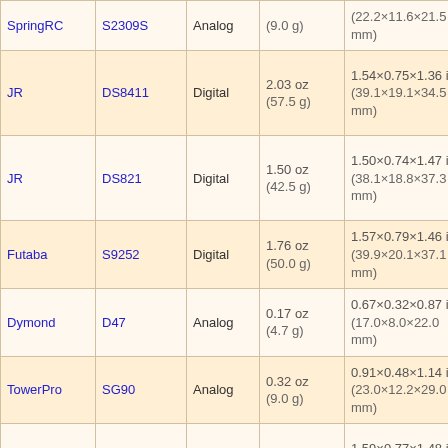| Brand | Model | Type | Weight | Dimensions | Torque |
| --- | --- | --- | --- | --- | --- |
| SpringRC | S2309S | Analog | (9.0 g) | (22.2×11.6×21.5 mm) | 6.0V 1... |
| JR | DS8411 | Digital | 2.03 oz (57.5 g) | 1.54×0.75×1.36 in (39.1×19.1×34.5 mm) | 4.8V 1... 6.0V 1... |
| JR | DS821 | Digital | 1.50 oz (42.5 g) | 1.50×0.74×1.47 in (38.1×18.8×37.3 mm) | 4.8V 7... 6.0V 8... |
| Futaba | S9252 | Digital | 1.76 oz (50.0 g) | 1.57×0.79×1.46 in (39.9×20.1×37.1 mm) | 4.8V 9... |
| Dymond | D47 | Analog | 0.17 oz (4.7 g) | 0.67×0.32×0.87 in (17.0×8.0×22.0 mm) | 4.8V 2... |
| TowerPro | SG90 | Analog | 0.32 oz (9.0 g) | 0.91×0.48×1.14 in (23.0×12.2×29.0 mm) | 4.8V 2... |
| Hitec | HS-5645MG | Digital | 2.11 oz (59.8 g) | 1.59×0.77×1.48 in (40.4×19.6×37.6 mm) | 4.8V 1... 6.0V 1... |
| Traxxas | 2065 | Analog | 0.46 oz (13.0 g) | 0.89×0.50×0.89 in (22.6×12.6×22.5 mm) | 6.0V 3... |
| Futaba | S3152 | Digital | 1.45 oz (41.0 g) | 1.57×0.79×1.50 in (39.9×20.1×38.1 mm) | 4.8V 7... 6.0V 8... |
| Futaba | S9254 | Digital | 1.73 oz (49.0 g) | 1.57×0.79×1.46 in (39.9×20.1×37.1 mm) | 4.8V 4... |
| Futaba | S9202 | Analog | 1.87 oz (53.0 g) | 1.61×0.79×1.50 in (40.9×20.1×38.1 mm) | 4.8V 5... 6.0V 6... |
| Hitec | HS-... | Analog | 1.41 oz | 1.52×0.77×1.41 in | 4.8V 6... |